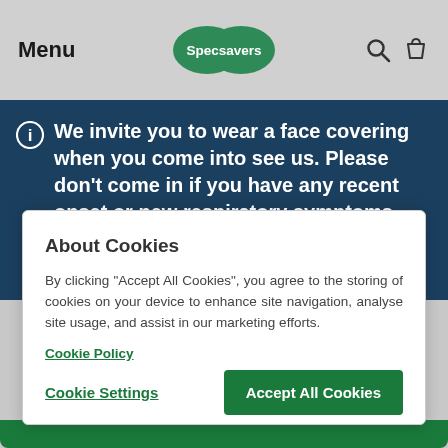Menu | Specsavers | [search icon] [bag icon]
We invite you to wear a face covering when you come into see us. Please don't come in if you have any recent onset or new respiratory symptoms. (updated 18th August 2022)
About Cookies
By clicking “Accept All Cookies”, you agree to the storing of cookies on your device to enhance site navigation, analyse site usage, and assist in our marketing efforts.
Cookie Policy
Cookie Settings
Accept All Cookies